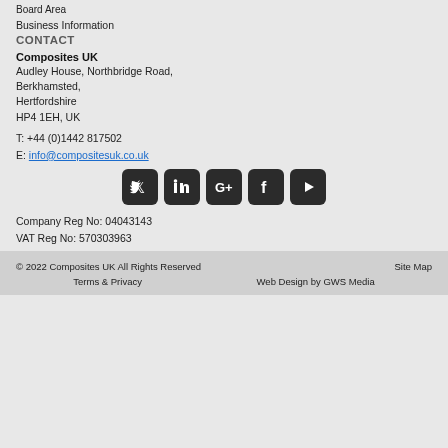Board Area
Business Information
CONTACT
Composites UK
Audley House, Northbridge Road,
Berkhamsted,
Hertfordshire
HP4 1EH, UK
T: +44 (0)1442 817502
E: info@compositesuk.co.uk
[Figure (infographic): Five social media icon buttons: Twitter, LinkedIn, Google+, Facebook, YouTube]
Company Reg No: 04043143
VAT Reg No: 570303963
© 2022 Composites UK All Rights Reserved   Site Map
Terms & Privacy   Web Design by GWS Media